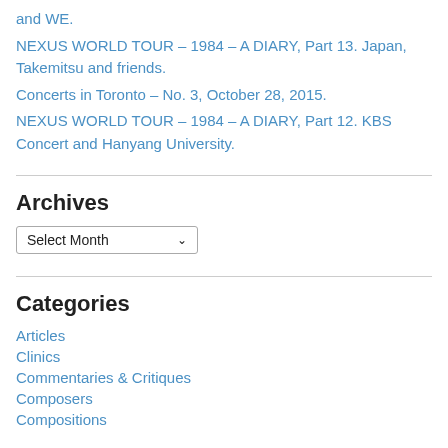and WE.
NEXUS WORLD TOUR – 1984 – A DIARY, Part 13. Japan, Takemitsu and friends.
Concerts in Toronto – No. 3, October 28, 2015.
NEXUS WORLD TOUR – 1984 – A DIARY, Part 12. KBS Concert and Hanyang University.
Archives
Select Month
Categories
Articles
Clinics
Commentaries & Critiques
Composers
Compositions